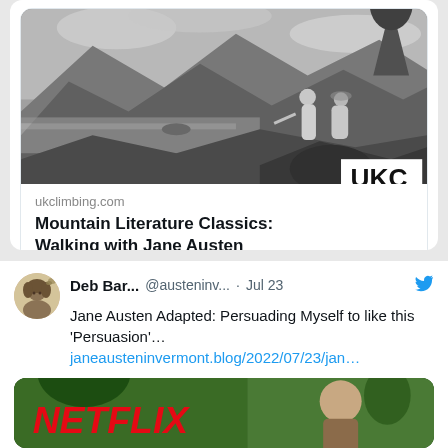[Figure (screenshot): Black and white classical illustration of two women in robes on a rocky landscape with mountains and water in background, with UKC badge in bottom right]
ukclimbing.com
Mountain Literature Classics: Walking with Jane Austen
Reply and heart/like action icons
Deb Bar... @austeninv... · Jul 23
Jane Austen Adapted: Persuading Myself to like this 'Persuasion'… janeausteninvermont.blog/2022/07/23/jan…
[Figure (screenshot): Netflix-branded image showing a woman outdoors with green background and Netflix logo in red]